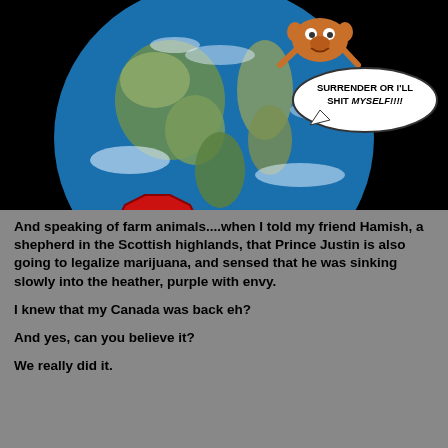[Figure (illustration): A political cartoon/meme showing Earth from space against a black background. On the globe is a large red octagonal STOP sign reading 'STOP HARPER'. A cartoon character (resembling a Muppet) sits atop the Earth with a speech bubble reading 'SURRENDER OR I'LL SHIT MYSELF!!!!'.]
And speaking of farm animals....when I told my friend Hamish, a shepherd in the Scottish highlands, that Prince Justin is also going to legalize marijuana, and sensed that he was sinking slowly into the heather, purple with envy.
I knew that my Canada was back eh?
And yes, can you believe it?
We really did it.